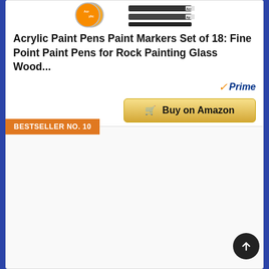[Figure (photo): Product image of Acrylic Paint Pens set showing orange marker caps and black paint marker pens]
Acrylic Paint Pens Paint Markers Set of 18: Fine Point Paint Pens for Rock Painting Glass Wood...
[Figure (logo): Amazon Prime badge with checkmark and italic Prime text]
Buy on Amazon
BESTSELLER NO. 10
[Figure (photo): Product image area for bestseller no. 10 item (partially visible, mostly blank/loading)]